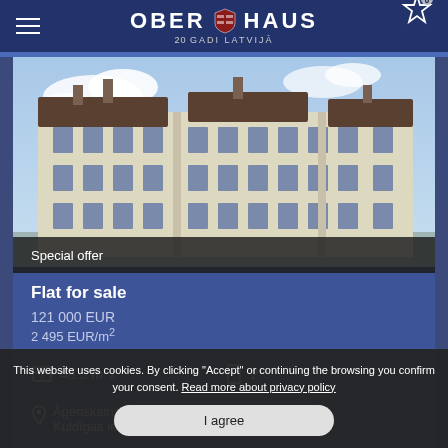OBER HAUS 20 GADI LATVIJĀ
[Figure (photo): Exterior rendering of a multi-storey residential building with light-coloured facade and dark roof, blue sky with clouds in background]
Special offer
Flat for sale
121 000 EUR
2 495 EUR/m²
48.5 m²
2
Āgenskalns, Kuldīgas iela
This website uses cookies. By clicking "Accept" or continuing the browsing you confirm your consent. Read more about privacy policy
I agree